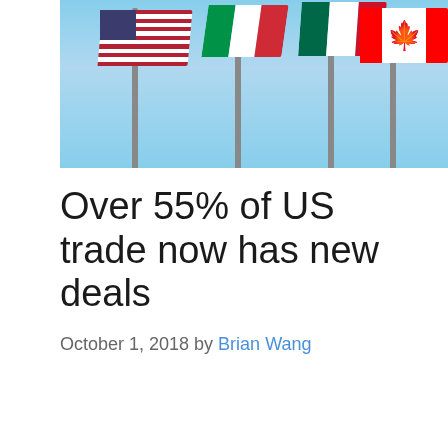[Figure (photo): Row of national flags including the US flag, an Italian-style flag, Mexican flag, and Canadian flag flying on poles against a blue sky background]
Over 55% of US trade now has new deals
October 1, 2018 by Brian Wang